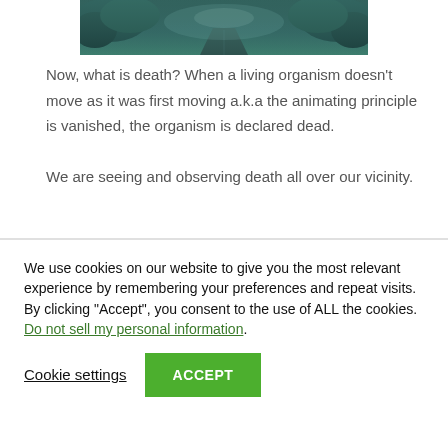[Figure (photo): A dark teal/blue photograph of a misty road or path disappearing into a foggy forest or treeline, with a moody atmospheric quality.]
Now, what is death? When a living organism doesn't move as it was first moving a.k.a the animating principle is vanished, the organism is declared dead. We are seeing and observing death all over our vicinity.
We use cookies on our website to give you the most relevant experience by remembering your preferences and repeat visits. By clicking “Accept”, you consent to the use of ALL the cookies. Do not sell my personal information.
Cookie settings
ACCEPT